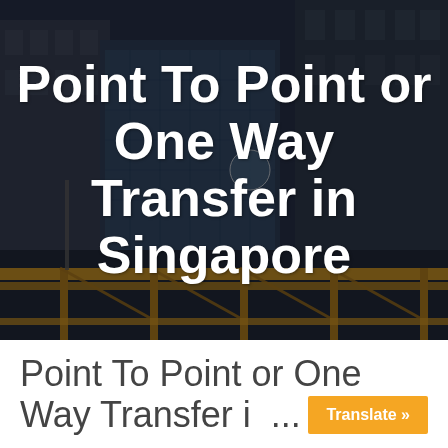[Figure (photo): Dark city street scene with buildings, showing an urban intersection. A yellow elevated railway or bridge structure is visible in the lower portion. The photo has a dark, moody tone.]
Point To Point or One Way Transfer in Singapore
Point To Point or One Way Transfer in...